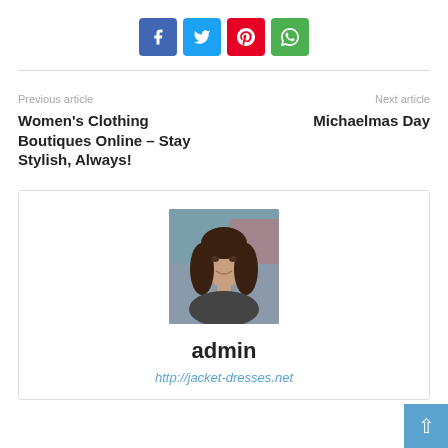[Figure (infographic): Social share buttons: Facebook (blue), Twitter (light blue), Pinterest (red), WhatsApp (green)]
Previous article
Women's Clothing Boutiques Online – Stay Stylish, Always!
Next article
Michaelmas Day
[Figure (photo): Portrait photo of a woman with dark hair, smiling, in a casual setting]
admin
http://jacket-dresses.net